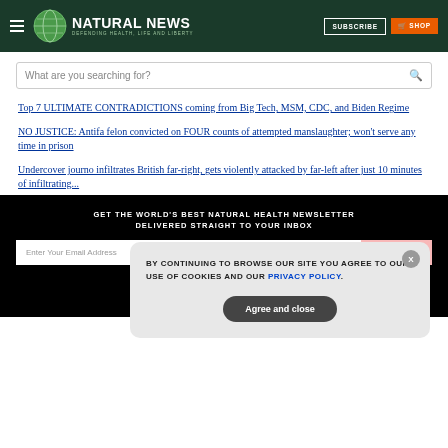Natural News — Defending Health, Life and Liberty
What are you searching for?
Top 7 ULTIMATE CONTRADICTIONS coming from Big Tech, MSM, CDC, and Biden Regime
NO JUSTICE: Antifa felon convicted on FOUR counts of attempted manslaughter; won't serve any time in prison
Undercover journo infiltrates British far-right, gets violently attacked by far-left after just 10 minutes of infiltrating...
GET THE WORLD'S BEST NATURAL HEALTH NEWSLETTER DELIVERED STRAIGHT TO YOUR INBOX
BY CONTINUING TO BROWSE OUR SITE YOU AGREE TO OUR USE OF COOKIES AND OUR PRIVACY POLICY.
Agree and close